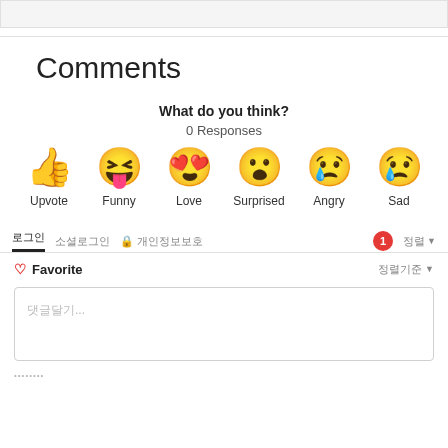Comments
What do you think?
0 Responses
[Figure (infographic): Six emoji reaction buttons: Upvote (thumbs up), Funny (laughing face with tongue), Love (heart eyes face), Surprised (open mouth face), Angry (sad crying face), Sad (crying face with tear)]
로그인  소셜로그인  🔒 개인정보보호  1  정렬
♡ Favorite  정렬기준 ▾
댓글달기...
••••••••